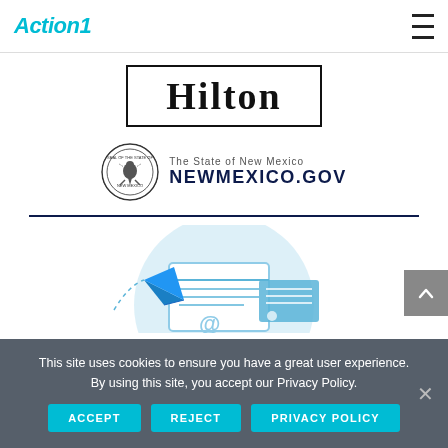Action1
[Figure (logo): Hilton logo — uppercase serif 'Hilton' text inside a thin black rectangular border]
[Figure (logo): New Mexico state seal alongside 'The State of New Mexico' and 'NEWMEXICO.GOV' text in dark navy]
[Figure (illustration): Email/newsletter illustration showing a paper airplane and envelope documents on a light blue circular background]
This site uses cookies to ensure you have a great user experience. By using this site, you accept our Privacy Policy.
ACCEPT   REJECT   PRIVACY POLICY